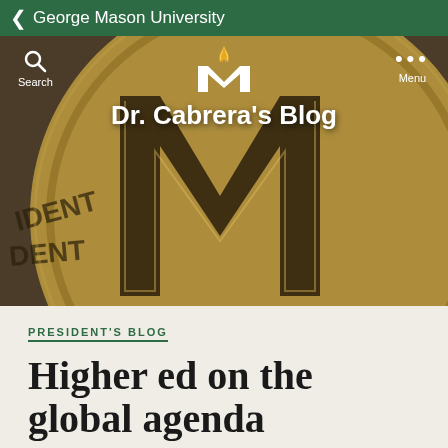George Mason University
[Figure (screenshot): George Mason University mobile website header with a gold coin featuring the letter M in the background, GMU logo with feather, and 'Dr. Cabrera's Blog' title overlay. Search and Menu buttons visible.]
PRESIDENT'S BLOG
Higher ed on the global agenda